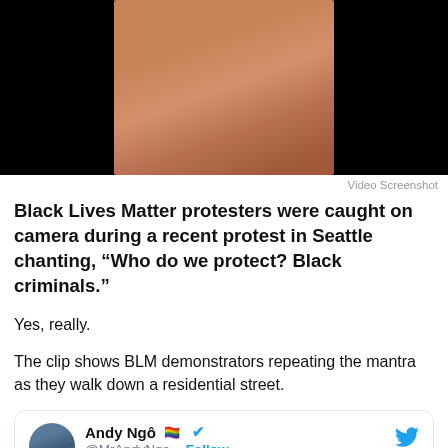[Figure (photo): Video screenshot showing a person from behind in a crowd at night, with black bars on either side]
Video Screenshot
Black Lives Matter protesters were caught on camera during a recent protest in Seattle chanting, “Who do we protect? Black criminals.”
Yes, really.
The clip shows BLM demonstrators repeating the mantra as they walk down a residential street.
[Figure (screenshot): Tweet card from Andy Ngô (@MrAndyNgo) with rainbow flag emoji and verified checkmark, with a Follow button and Twitter bird icon]